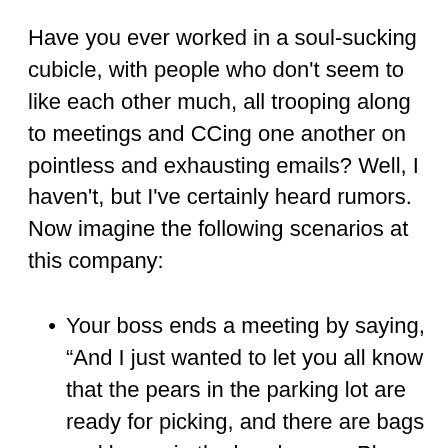Have you ever worked in a soul-sucking cubicle, with people who don't seem to like each other much, all trooping along to meetings and CCing one another on pointless and exhausting emails? Well, I haven't, but I've certainly heard rumors. Now imagine the following scenarios at this company:
Your boss ends a meeting by saying, “And I just wanted to let you all know that the pears in the parking lot are ready for picking, and there are bags and boxes in the break room. Please take as much as you can use.”
An email from the CEO that reads, “The blueberries are ripening and should be going